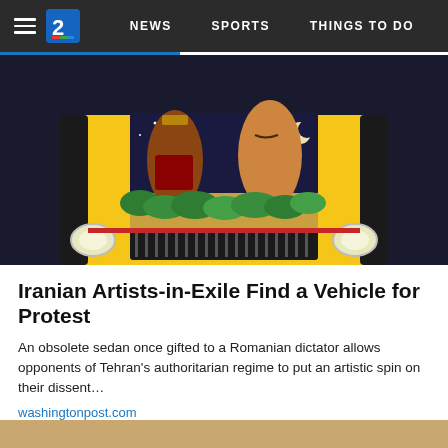NEWS   SPORTS   THINGS TO DO
[Figure (photo): Close-up of a decorated yellow and black vintage car hood featuring painted Iranian warriors/figures surrounded by green leaves, viewed from the front showing headlights and grille.]
Iranian Artists-in-Exile Find a Vehicle for Protest
An obsolete sedan once gifted to a Romanian dictator allows opponents of Tehran's authoritarian regime to put an artistic spin on their dissent…
washingtonpost.com